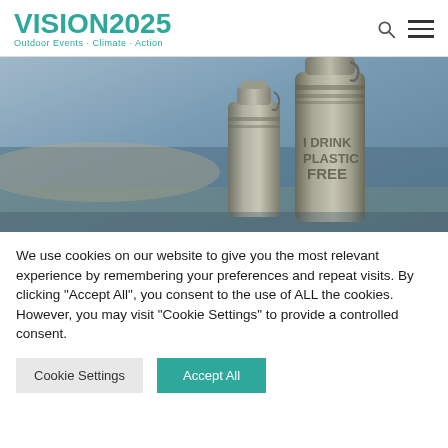VISION2025 Outdoor Events · Climate · Action
[Figure (photo): Two metallic reusable water bottles on a blurred outdoor background. The larger bottle has text reading 'I DRINK PLASTIC FREE'.]
We use cookies on our website to give you the most relevant experience by remembering your preferences and repeat visits. By clicking "Accept All", you consent to the use of ALL the cookies. However, you may visit "Cookie Settings" to provide a controlled consent.
Cookie Settings  Accept All